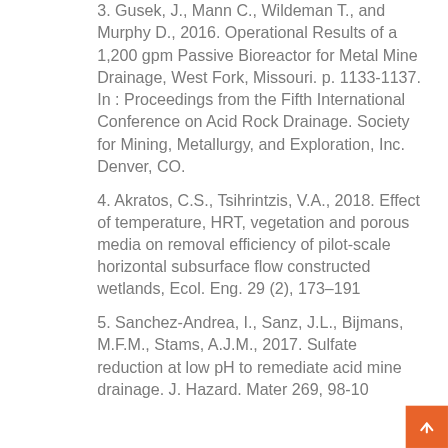3. Gusek, J., Mann C., Wildeman T., and Murphy D., 2016. Operational Results of a 1,200 gpm Passive Bioreactor for Metal Mine Drainage, West Fork, Missouri. p. 1133-1137. In : Proceedings from the Fifth International Conference on Acid Rock Drainage. Society for Mining, Metallurgy, and Exploration, Inc. Denver, CO.
4. Akratos, C.S., Tsihrintzis, V.A., 2018. Effect of temperature, HRT, vegetation and porous media on removal efficiency of pilot-scale horizontal subsurface flow constructed wetlands, Ecol. Eng. 29 (2), 173–191
5. Sanchez-Andrea, I., Sanz, J.L., Bijmans, M.F.M., Stams, A.J.M., 2017. Sulfate reduction at low pH to remediate acid mine drainage. J. Hazard. Mater 269, 98-10